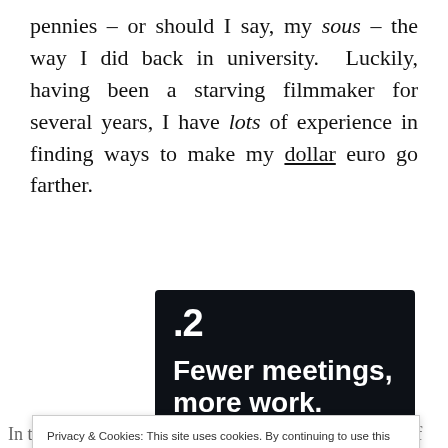pennies – or should I say, my sous – the way I did back in university. Luckily, having been a starving filmmaker for several years, I have lots of experience in finding ways to make my dollar euro go farther.
[Figure (screenshot): Dark-background advertisement showing '.2' in top left, headline 'Fewer meetings, more work.' in bold white text, and a 'Get started for free' rounded button]
Privacy & Cookies: This site uses cookies. By continuing to use this website, you agree to their use.
To find out more, including how to control cookies, see here: Cookie Policy
In the spirit of sharing, I thought I'd let you in on some of